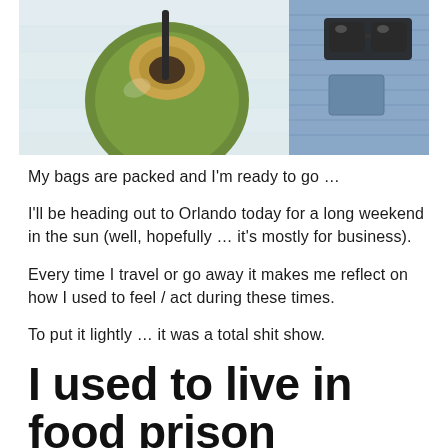[Figure (photo): Photo showing a green coconut with a straw on a white wooden surface, with sunglasses and a denim jacket visible on the right side.]
My bags are packed and I'm ready to go …
I'll be heading out to Orlando today for a long weekend in the sun (well, hopefully … it's mostly for business).
Every time I travel or go away it makes me reflect on how I used to feel / act during these times.
To put it lightly … it was a total shit show.
I used to live in food prison